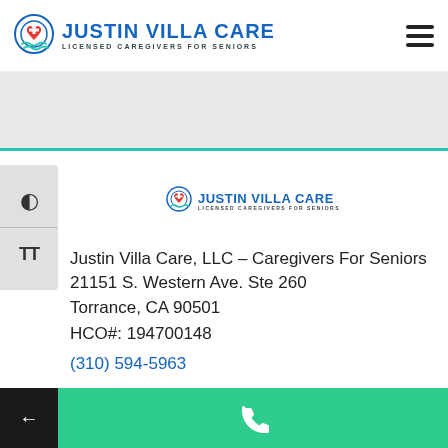[Figure (logo): Justin Villa Care logo with icon - Licensed Caregivers for Seniors]
[Figure (logo): Justin Villa Care small logo - Licensed Caregivers for Seniors]
Justin Villa Care, LLC – Caregivers For Seniors
21151 S. Western Ave. Ste 260
Torrance, CA 90501
HCO#: 194700148
(310) 594-5963